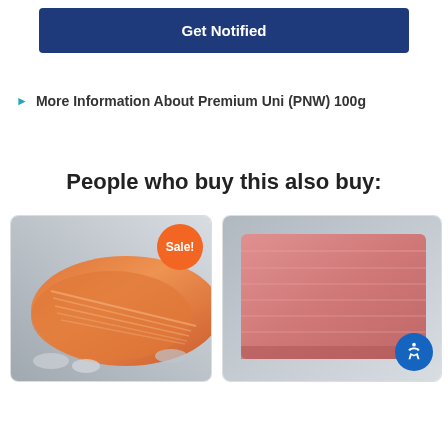Get Notified
More Information About Premium Uni (PNW) 100g
People who buy this also buy:
[Figure (photo): Salmon fillet on crushed ice with Sale! badge overlay]
[Figure (photo): Tuna block on crushed ice]